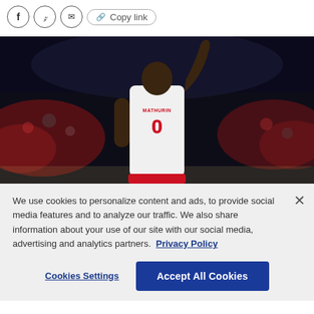[Figure (other): Social share toolbar with Facebook, Twitter, email, copy-link icons]
[Figure (photo): Basketball player wearing jersey number 0 (MATHURIN) with arm raised, photographed from behind, crowd visible in background]
We use cookies to personalize content and ads, to provide social media features and to analyze our traffic. We also share information about your use of our site with our social media, advertising and analytics partners. Privacy Policy
Cookies Settings
Accept All Cookies